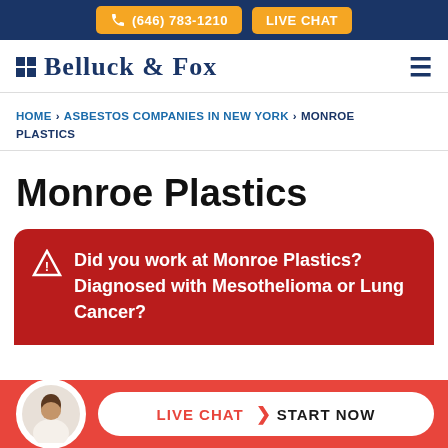(646) 783-1210  LIVE CHAT
[Figure (logo): Belluck & Fox law firm logo with dark blue grid squares icon and serif text]
HOME > ASBESTOS COMPANIES IN NEW YORK > MONROE PLASTICS
Monroe Plastics
Did you work at Monroe Plastics? Diagnosed with Mesothelioma or Lung Cancer?
LIVE CHAT  START NOW